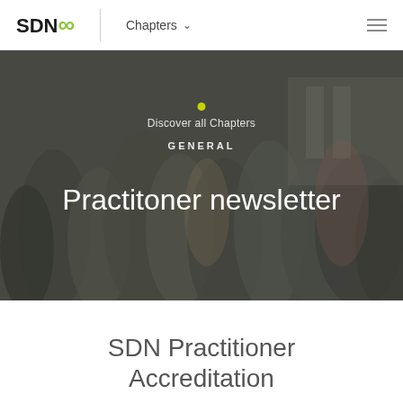[Figure (screenshot): SDN website navigation bar with SDN infinity logo on the left, Chapters dropdown in the center, and hamburger menu on the right]
[Figure (photo): Hero banner with blurred crowd/event photo as background, overlaid with dark semi-transparent overlay, showing a yellow dot, 'Discover all Chapters' text, 'GENERAL' label, and large 'Practitoner newsletter' heading in white]
SDN Practitioner Accreditation